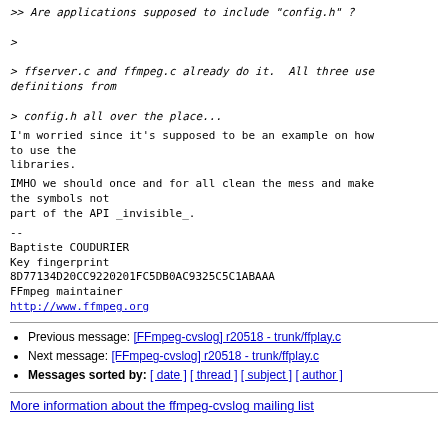>> Are applications supposed to include "config.h" ?
>
> ffserver.c and ffmpeg.c already do it.  All three use definitions from
> config.h all over the place...
I'm worried since it's supposed to be an example on how to use the libraries.
IMHO we should once and for all clean the mess and make the symbols not part of the API _invisible_.
--
Baptiste COUDURIER
Key fingerprint
8D77134D20CC9220201FC5DB0AC9325C5C1ABAAA
FFmpeg maintainer
http://www.ffmpeg.org
Previous message: [FFmpeg-cvslog] r20518 - trunk/ffplay.c
Next message: [FFmpeg-cvslog] r20518 - trunk/ffplay.c
Messages sorted by: [ date ] [ thread ] [ subject ] [ author ]
More information about the ffmpeg-cvslog mailing list